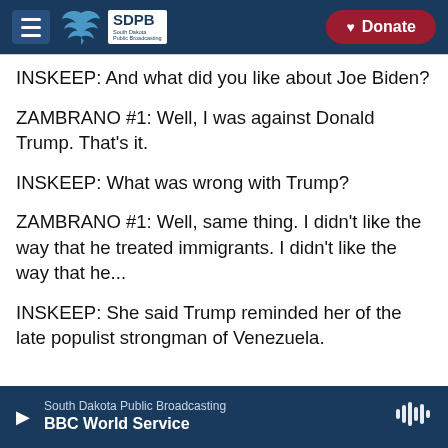SDPB South Dakota Public Broadcasting | Donate
INSKEEP: And what did you like about Joe Biden?
ZAMBRANO #1: Well, I was against Donald Trump. That's it.
INSKEEP: What was wrong with Trump?
ZAMBRANO #1: Well, same thing. I didn't like the way that he treated immigrants. I didn't like the way that he...
INSKEEP: She said Trump reminded her of the late populist strongman of Venezuela.
South Dakota Public Broadcasting | BBC World Service